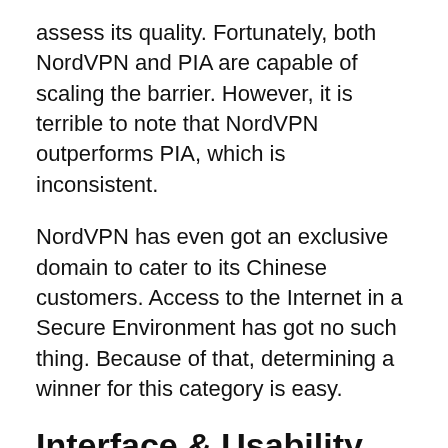assess its quality. Fortunately, both NordVPN and PIA are capable of scaling the barrier. However, it is terrible to note that NordVPN outperforms PIA, which is inconsistent.
NordVPN has even got an exclusive domain to cater to its Chinese customers. Access to the Internet in a Secure Environment has got no such thing. Because of that, determining a winner for this category is easy.
Interface & Usability
The user interfaces of the NordVPN and PIA applications are very different. With a huge connect button and a drop-down choice of